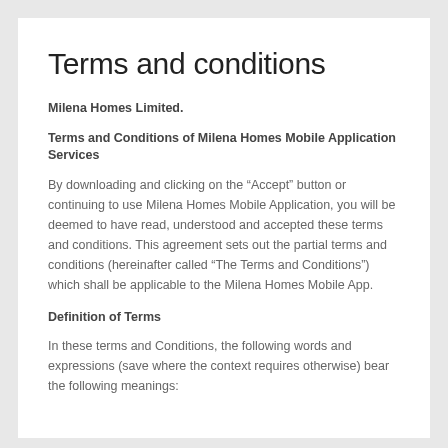Terms and conditions
Milena Homes Limited.
Terms and Conditions of Milena Homes Mobile Application Services
By downloading and clicking on the “Accept” button or continuing to use Milena Homes Mobile Application, you will be deemed to have read, understood and accepted these terms and conditions. This agreement sets out the partial terms and conditions (hereinafter called “The Terms and Conditions”) which shall be applicable to the Milena Homes Mobile App.
Definition of Terms
In these terms and Conditions, the following words and expressions (save where the context requires otherwise) bear the following meanings: